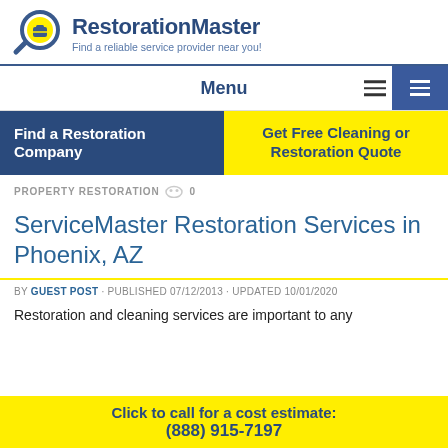[Figure (logo): RestorationMaster logo with magnifying glass icon, bold blue text 'RestorationMaster' and subtitle 'Find a reliable service provider near you!']
Menu
Find a Restoration Company
Get Free Cleaning or Restoration Quote
PROPERTY RESTORATION  0
ServiceMaster Restoration Services in Phoenix, AZ
BY GUEST POST · PUBLISHED 07/12/2013 · UPDATED 10/01/2020
Restoration and cleaning services are important to any
Click to call for a cost estimate:
(888) 915-7197